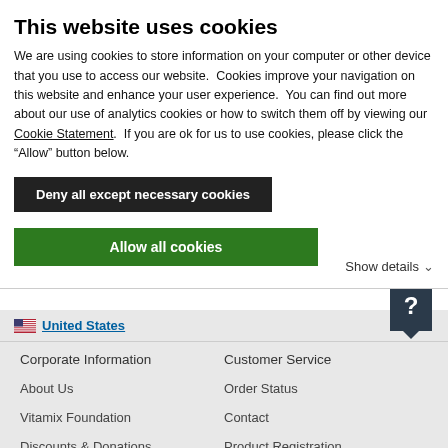This website uses cookies
We are using cookies to store information on your computer or other device that you use to access our website.  Cookies improve your navigation on this website and enhance your user experience.  You can find out more about our use of analytics cookies or how to switch them off by viewing our Cookie Statement.  If you are ok for us to use cookies, please click the “Allow” button below.
Deny all except necessary cookies
Allow all cookies
Show details
United States
Corporate Information
Customer Service
About Us
Order Status
Vitamix Foundation
Contact
Discounts & Donations
Product Registration
Corporate Wellness Program
Shipping and Returns